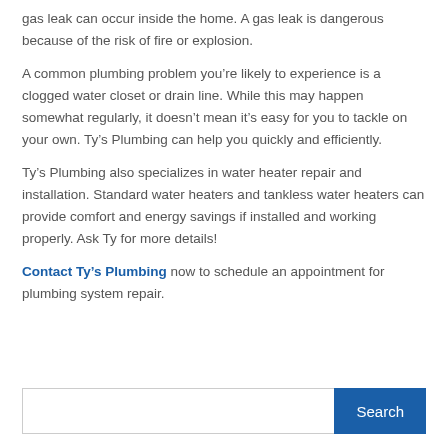gas leak can occur inside the home. A gas leak is dangerous because of the risk of fire or explosion.
A common plumbing problem you’re likely to experience is a clogged water closet or drain line. While this may happen somewhat regularly, it doesn’t mean it’s easy for you to tackle on your own. Ty’s Plumbing can help you quickly and efficiently.
Ty’s Plumbing also specializes in water heater repair and installation. Standard water heaters and tankless water heaters can provide comfort and energy savings if installed and working properly. Ask Ty for more details!
Contact Ty’s Plumbing now to schedule an appointment for plumbing system repair.